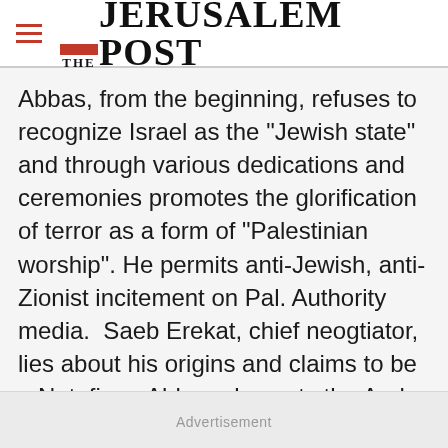THE JERUSALEM POST
Abbas, from the beginning, refuses to recognize Israel as the "Jewish state" and through various dedications and ceremonies promotes the glorification of terror as a form of "Palestinian worship". He permits anti-Jewish, anti-Zionist incitement on Pal. Authority media.  Saeb Erekat, chief neogtiator, lies about his origins and claims to be a Natufian.  Abbas also gets the Arab League to issue and back his three noes:
Advertisement